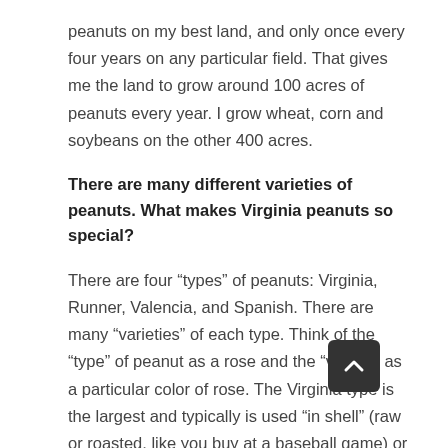peanuts on my best land, and only once every four years on any particular field. That gives me the land to grow around 100 acres of peanuts every year. I grow wheat, corn and soybeans on the other 400 acres.
There are many different varieties of peanuts. What makes Virginia peanuts so special?
There are four “types” of peanuts: Virginia, Runner, Valencia, and Spanish. There are many “varieties” of each type. Think of the “type” of peanut as a rose and the “variety” as a particular color of rose. The Virginia type is the largest and typically is used “in shell” (raw or roasted, like you buy at a baseball game) or for the gourmet market (largest nuts, roasted and canned). These are typically grown in Virginia, North Carolina, and